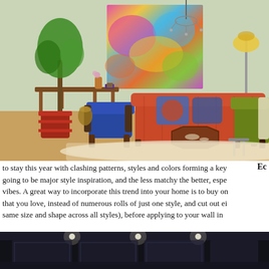[Figure (photo): Eclectic living room interior with colorful abstract painting on wall, orange velvet tufted sofa with patterned cushions, blue midcentury chair, green velvet armchair, wooden side table with plant, red barrel planter, octagonal coffee table on patterned rug, chandelier, and floor lamp. Light green walls.]
Ec to stay this year with clashing patterns, styles and colors forming a key going to be major style inspiration, and the less matchy the better, espe vibes. A great way to incorporate this trend into your home is to buy on that you love, instead of numerous rolls of just one style, and cut out ei same size and shape across all styles), before applying to your wall in
[Figure (photo): Dark interior room with recessed ceiling lights and paneled walls, appears to be a home theater or lounge.]